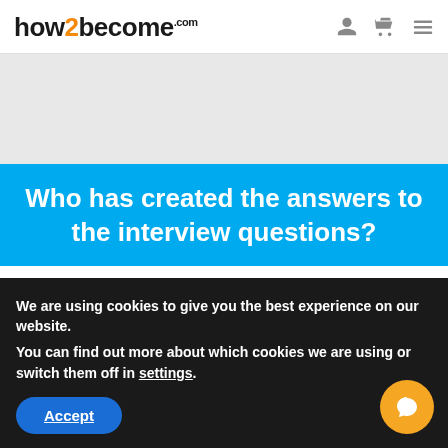how2become.com
[Figure (other): Gray banner placeholder area]
Who has created the answers to the interview questions?
Richard McMunn is a former Fire Officer turned interview coach who has over 20 years experience within the
We are using cookies to give you the best experience on our website.
You can find out more about which cookies we are using or switch them off in settings.